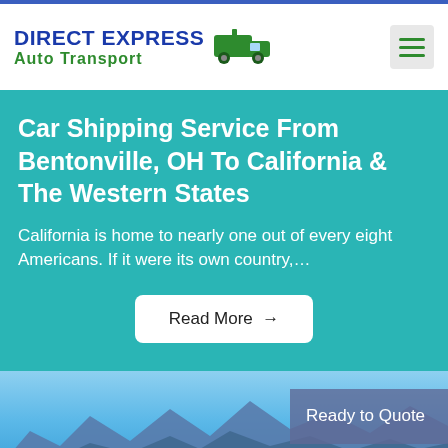DIRECT EXPRESS Auto Transport
Car Shipping Service From Bentonville, OH To California & The Western States
California is home to nearly one out of every eight Americans. If it were its own country,…
Read More →
[Figure (photo): Landscape photo showing mountains, blue sky, and a lake or body of water. An overlay box in the lower right reads 'Ready to Quote'.]